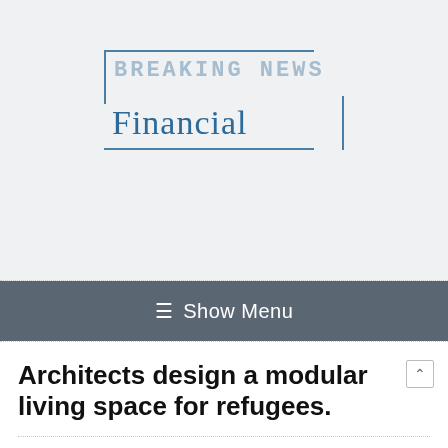[Figure (logo): Breaking News Financial logo with bracket border design, 'BREAKING NEWS' in light blue monospace text overlaid by 'Financial' in serif dark blue text]
≡ Show Menu
Architects design a modular living space for refugees.
[Figure (other): Social media share icons: Facebook (blue f), Pinterest (red P), Google+ (red g+), and additional social icons]